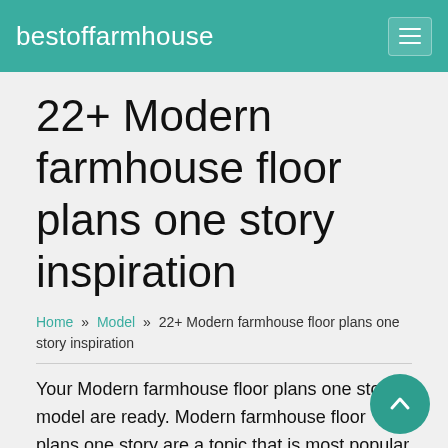bestoffarmhouse
22+ Modern farmhouse floor plans one story inspiration
Home » Model » 22+ Modern farmhouse floor plans one story inspiration
Your Modern farmhouse floor plans one story model are ready. Modern farmhouse floor plans one story are a topic that is most popular and liked by everyone today. You can Get the Modern farmhouse floor plans one story files here. Find and Download all free vectors.
If you're looking for modern farmhouse floor plans one story pictures information related to the modern